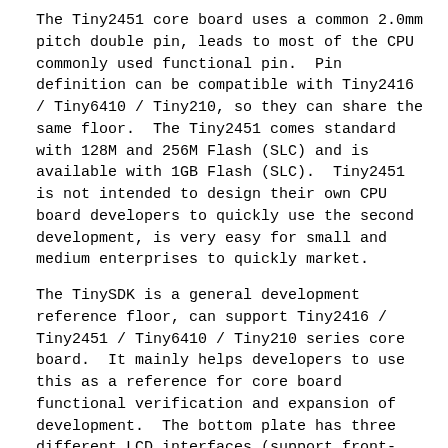The Tiny2451 core board uses a common 2.0mm pitch double pin, leads to most of the CPU commonly used functional pin.  Pin definition can be compatible with Tiny2416 / Tiny6410 / Tiny210, so they can share the same floor.  The Tiny2451 comes standard with 128M and 256M Flash (SLC) and is available with 1GB Flash (SLC).  Tiny2451 is not intended to design their own CPU board developers to quickly use the second development, is very easy for small and medium enterprises to quickly market.
The TinySDK is a general development reference floor, can support Tiny2416 / Tiny2451 / Tiny6410 / Tiny210 series core board.  It mainly helps developers to use this as a reference for core board functional verification and expansion of development.  The bottom plate has three different LCD interfaces (support front-line touch, and I2C capacitive touch) for different sizes of LCD mounting and fixed; with 100 / 10M adaptive standard network interface, standard DB9 five-wire serial port x2, MiniUSB 2.0 Interface, USB Host x4, 3.5mm audio input and output ports, pop-up SD deck and other common interface; also leads to 4 TTL serial port, SDIO2 interface (can be used SD WiFi), CMOS Camera interface (Tiny2416 not supported) interface , The extra GPIO port, etc .; in the board there are buzzer, I2C-EEPROM, backup battery, AD adjustable resistance, four interrupt-type keys and other resources.
OS can be installed from an SD card using the built in